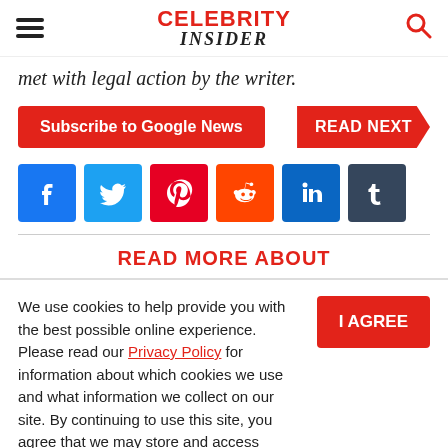CELEBRITY INSIDER
met with legal action by the writer.
Subscribe to Google News | READ NEXT
[Figure (other): Social media share icons: Facebook, Twitter, Pinterest, Reddit, LinkedIn, Tumblr]
READ MORE ABOUT
We use cookies to help provide you with the best possible online experience. Please read our Privacy Policy for information about which cookies we use and what information we collect on our site. By continuing to use this site, you agree that we may store and access cookies on your device.